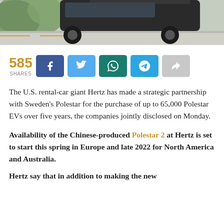[Figure (photo): Top portion of a car (SUV/sedan) parked on a road with greenery in the background — cropped photo strip at top of page]
585 SHARES
The U.S. rental-car giant Hertz has made a strategic partnership with Sweden's Polestar for the purchase of up to 65,000 Polestar EVs over five years, the companies jointly disclosed on Monday.
Availability of the Chinese-produced Polestar 2 at Hertz is set to start this spring in Europe and late 2022 for North America and Australia.
Hertz say that in addition to making the new